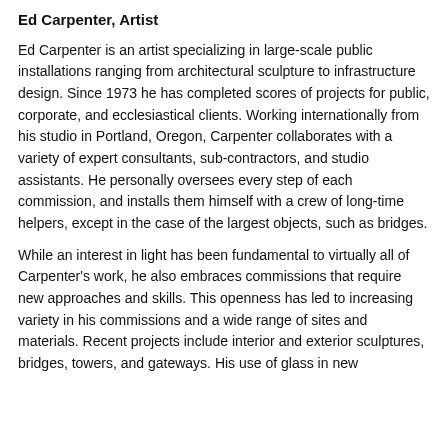Ed Carpenter, Artist
Ed Carpenter is an artist specializing in large-scale public installations ranging from architectural sculpture to infrastructure design. Since 1973 he has completed scores of projects for public, corporate, and ecclesiastical clients. Working internationally from his studio in Portland, Oregon, Carpenter collaborates with a variety of expert consultants, sub-contractors, and studio assistants. He personally oversees every step of each commission, and installs them himself with a crew of long-time helpers, except in the case of the largest objects, such as bridges.
While an interest in light has been fundamental to virtually all of Carpenter's work, he also embraces commissions that require new approaches and skills. This openness has led to increasing variety in his commissions and a wide range of sites and materials. Recent projects include interior and exterior sculptures, bridges, towers, and gateways. His use of glass in new